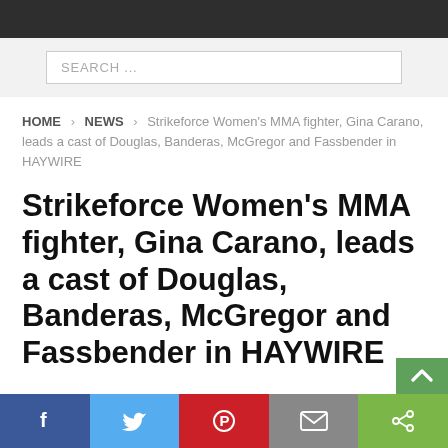SEARCH ...
HOME > NEWS > Strikeforce Women's MMA fighter, Gina Carano, leads a cast of Douglas, Banderas, McGregor and Fassbender in HAYWIRE
Strikeforce Women's MMA fighter, Gina Carano, leads a cast of Douglas, Banderas, McGregor and Fassbender in HAYWIRE
f  t  p  mail  share